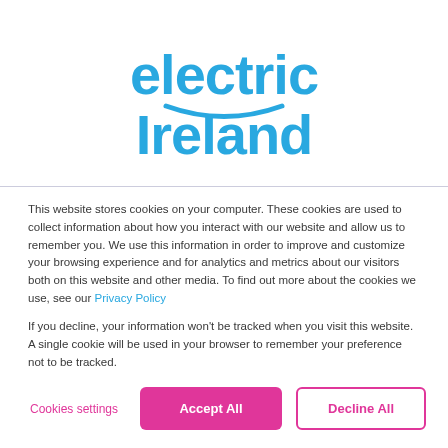[Figure (logo): Electric Ireland logo in blue, with 'electric' on top and 'Ireland' below, featuring a stylized smile/arc under the text]
This website stores cookies on your computer. These cookies are used to collect information about how you interact with our website and allow us to remember you. We use this information in order to improve and customize your browsing experience and for analytics and metrics about our visitors both on this website and other media. To find out more about the cookies we use, see our Privacy Policy
If you decline, your information won't be tracked when you visit this website. A single cookie will be used in your browser to remember your preference not to be tracked.
Cookies settings
Accept All
Decline All